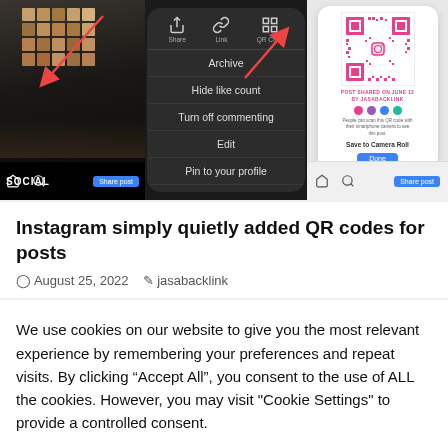[Figure (screenshot): Screenshot of Instagram post sharing interface showing three panels: left panel with stacked wooden blocks photo and SOCIAL label, center panel with dark dropdown menu showing options like Archive, Hide like count, Turn off commenting, Edit, Pin to your profile, Post to other apps, Delete with red arrows pointing to QR Code option, right panel showing QR code for a post with Save to Camera Roll and Done button.]
Instagram simply quietly added QR codes for posts
August 25, 2022   jasabacklink
We use cookies on our website to give you the most relevant experience by remembering your preferences and repeat visits. By clicking “Accept All”, you consent to the use of ALL the cookies. However, you may visit "Cookie Settings" to provide a controlled consent.
Cookie Settings   Accept All